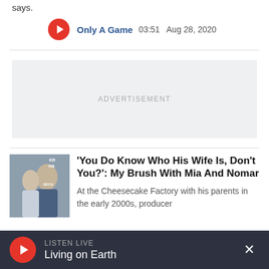says.
Only A Game  03:51  Aug 28, 2020
[Figure (other): Advertisement placeholder box (gray background)]
[Figure (photo): Thumbnail photo of a man and woman at an event]
'You Do Know Who His Wife Is, Don't You?': My Brush With Mia And Nomar
At the Cheesecake Factory with his parents in the early 2000s, producer
LISTEN LIVE Living on Earth